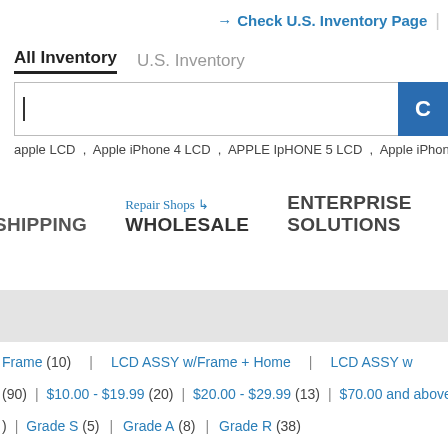Check U.S. Inventory Page
All Inventory   U.S. Inventory
apple LCD , Apple iPhone 4 LCD , APPLE IpHONE 5 LCD , Apple iPhone
SHIPPING   WHOLESALE   ENTERPRISE SOLUTIONS
Frame (10)   LCD ASSY w/Frame + Home   LCD ASSY w
(90)   $10.00 - $19.99 (20)   $20.00 - $29.99 (13)   $70.00 and above (
)   Grade S (5)   Grade A (8)   Grade R (38)